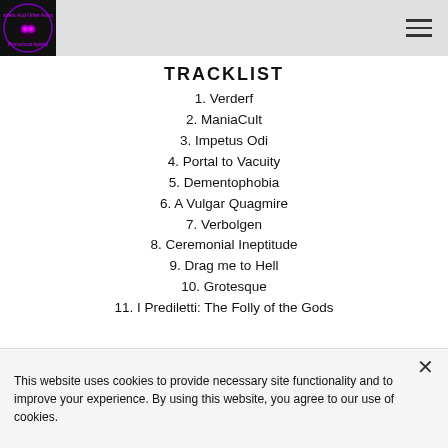Rockers And Other Animals Promotional Agency logo and navigation
TRACKLIST
1. Verderf
2. ManiaCult
3. Impetus Odi
4. Portal to Vacuity
5. Dementophobia
6. A Vulgar Quagmire
7. Verbolgen
8. Ceremonial Ineptitude
9. Drag me to Hell
10. Grotesque
11. I Prediletti: The Folly of the Gods
This website uses cookies to provide necessary site functionality and to improve your experience. By using this website, you agree to our use of cookies.